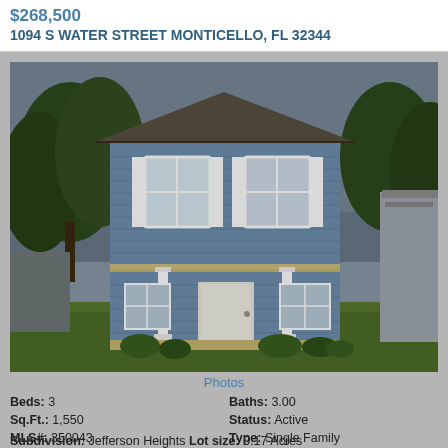$268,500
1094 S WATER STREET MONTICELLO, FL 32344
[Figure (photo): Exterior photo of a two-story blue house with white trim, front porch with white columns, two windows on the upper floor with shutters, green lawn in front, trees in background.]
Photos
| Beds: 3 | Baths: 3.00 |
| Sq.Ft.: 1,550 | Status: Active |
| MLS#: 350043 | Type: Single Family |
| Subdivision: Jefferson Heights | Lot size: 0.17 Acres |